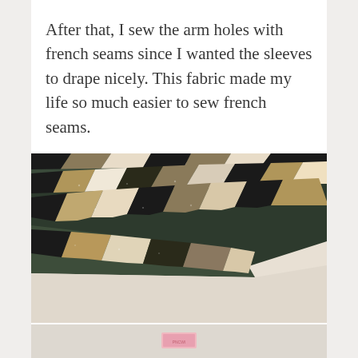After that, I sew the arm holes with french seams since I wanted the sleeves to drape nicely. This fabric made my life so much easier to sew french seams.
[Figure (photo): Close-up photograph of a patterned fabric with geometric zigzag/chevron design in dark green, black, beige, and cream tones, draped on a light surface.]
[Figure (photo): Partial view of another photo below, showing a light background with a small pink label or tag visible at the bottom of the page.]